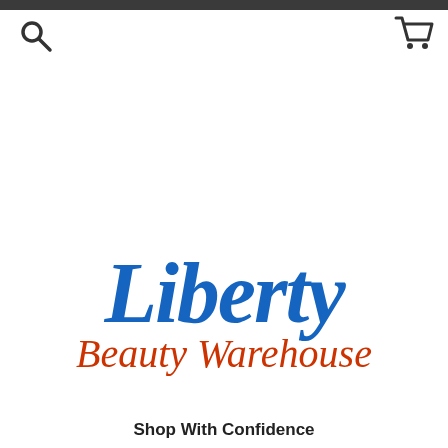[Figure (logo): Liberty Beauty Warehouse logo — 'Liberty' in large bold blue italic script font, 'Beauty Warehouse' in smaller red italic script font below]
Shop With Confidence